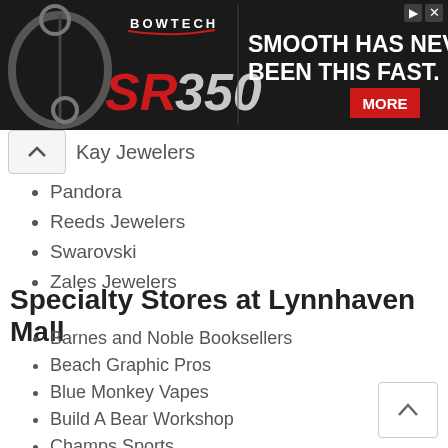[Figure (illustration): Bowtech SR350 advertisement banner with bow image on dark background. Text: SMOOTH HAS NEVER BEEN THIS FAST. with a red MORE button.]
Kay Jewelers
Pandora
Reeds Jewelers
Swarovski
Zales Jewelers
Specialty Stores at Lynnhaven Mall
Barnes and Noble Booksellers
Beach Graphic Pros
Blue Monkey Vapes
Build A Bear Workshop
Champs Sports
Choi Watch and Jewelry Repair
Dazzle Up